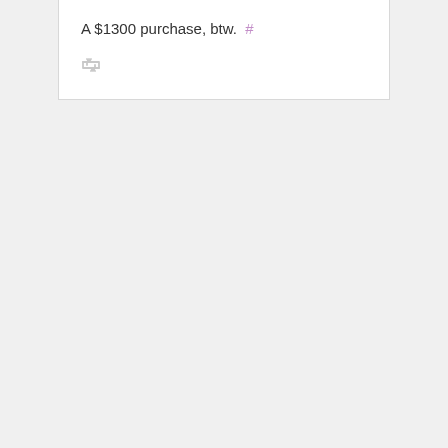A $1300 purchase, btw.  #
[Figure (other): Retweet icon (gray arrows forming a retweet/recycle symbol)]